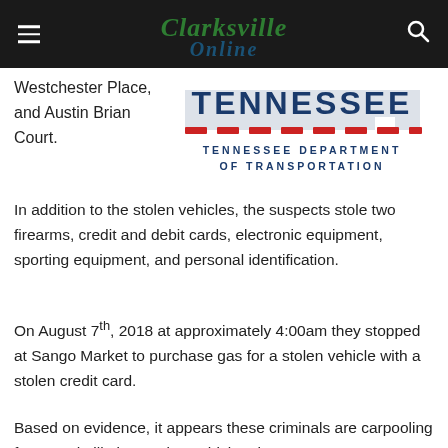Clarksville Online
[Figure (logo): Tennessee Department of Transportation logo with state outline and red dashes]
Westchester Place, and Austin Brian Court.
In addition to the stolen vehicles, the suspects stole two firearms, credit and debit cards, electronic equipment, sporting equipment, and personal identification.
On August 7th, 2018 at approximately 4:00am they stopped at Sango Market to purchase gas for a stolen vehicle with a stolen credit card.
Based on evidence, it appears these criminals are carpooling from Nashville in a stolen vehicle. They canvass neighborhoods for unlocked vehicles, homes, and open